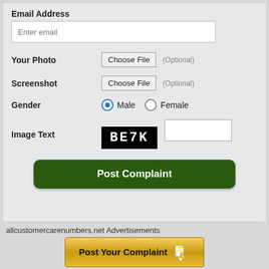Email Address
[Figure (screenshot): Text input field with placeholder 'Enter email']
Your Photo
[Figure (screenshot): File chooser button labeled 'Choose File' with '(Optional)' text]
Screenshot
[Figure (screenshot): File chooser button labeled 'Choose File' with '(Optional)' text]
Gender
[Figure (screenshot): Radio buttons: Male (selected, blue) and Female (unselected)]
Image Text
[Figure (screenshot): Captcha image showing 'BE7K' in white on black background, plus an input field]
[Figure (screenshot): Green rounded button labeled 'Post Complaint']
allcustomercarenumbers.net Advertisements
[Figure (screenshot): Gold/yellow banner button labeled 'Post Your Complaint' with pencil icon]